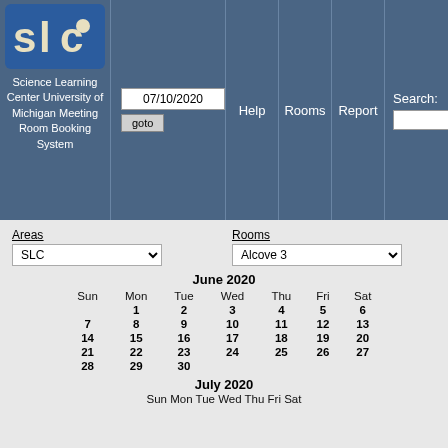[Figure (logo): SLC logo - blue and beige letters SLC]
Science Learning Center University of Michigan Meeting Room Booking System
07/10/2020
goto
Help
Rooms
Report
Search:
Areas
SLC
Rooms
Alcove 3
June 2020
| Sun | Mon | Tue | Wed | Thu | Fri | Sat |
| --- | --- | --- | --- | --- | --- | --- |
|  | 1 | 2 | 3 | 4 | 5 | 6 |
| 7 | 8 | 9 | 10 | 11 | 12 | 13 |
| 14 | 15 | 16 | 17 | 18 | 19 | 20 |
| 21 | 22 | 23 | 24 | 25 | 26 | 27 |
| 28 | 29 | 30 |  |  |  |  |
July 2020
Sun Mon Tue Wed Thu Fri Sat